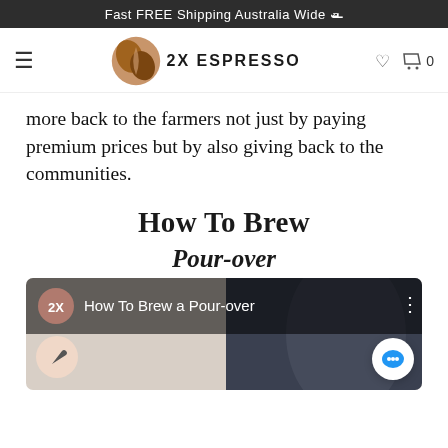Fast FREE Shipping Australia Wide 🚢
[Figure (logo): 2X Espresso logo with coffee bean icon and navigation bar including hamburger menu, heart icon, and cart with 0 items]
more back to the farmers not just by paying premium prices but by also giving back to the communities.
How To Brew
Pour-over
[Figure (screenshot): Video thumbnail for 'How To Brew a Pour-over' with 2X avatar, title overlay, and coffee cup background image]